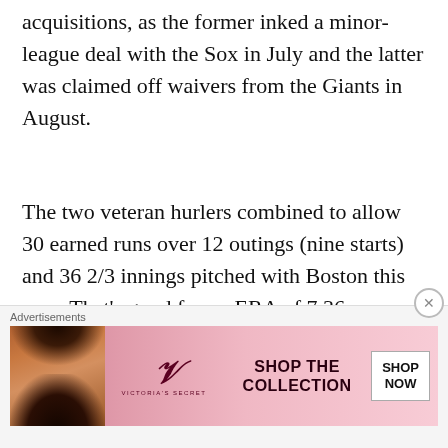acquisitions, as the former inked a minor-league deal with the Sox in July and the latter was claimed off waivers from the Giants in August.
The two veteran hurlers combined to allow 30 earned runs over 12 outings (nine starts) and 36 2/3 innings pitched with Boston this year. That's good for an ERA of 7.36.
With these moves made, the Red Sox currently have 35 players on their 40-man roster. More roster shuffling will have to be done by chief
Advertisements
[Figure (other): Victoria's Secret advertisement banner with pink background, model photo on left, VS logo, 'SHOP THE COLLECTION' text and 'SHOP NOW' button]